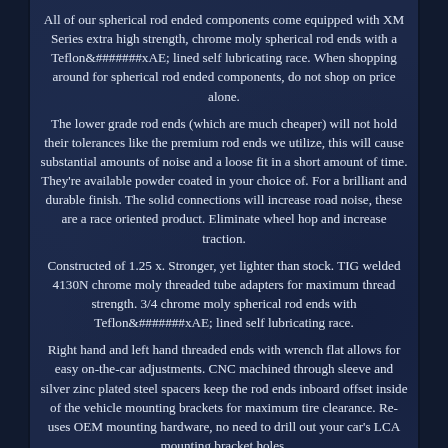All of our spherical rod ended components come equipped with XM Series extra high strength, chrome moly spherical rod ends with a Teflon® lined self lubricating race. When shopping around for spherical rod ended components, do not shop on price alone.
The lower grade rod ends (which are much cheaper) will not hold their tolerances like the premium rod ends we utilize, this will cause substantial amounts of noise and a loose fit in a short amount of time. They're available powder coated in your choice of. For a brilliant and durable finish. The solid connections will increase road noise, these are a race oriented product. Eliminate wheel hop and increase traction.
Constructed of 1.25 x. Stronger, yet lighter than stock. TIG welded 4130N chrome moly threaded tube adapters for maximum thread strength. 3/4 chrome moly spherical rod ends with Teflon® lined self lubricating race.
Right hand and left hand threaded ends with wrench flat allows for easy on-the-car adjustments. CNC machined through sleeve and silver zinc plated steel spacers keep the rod ends inboard offset inside of the vehicle mounting brackets for maximum tire clearance. Re-uses OEM mounting hardware, no need to drill out your car's LCA mounting bracket holes.
Easy 100% bolt in installation with the use of basic hand tools. Available powder coated in your choice of. Priced per Pair -- Qty.
Have mounting holes for a factory style rear sway bar. These LCAs